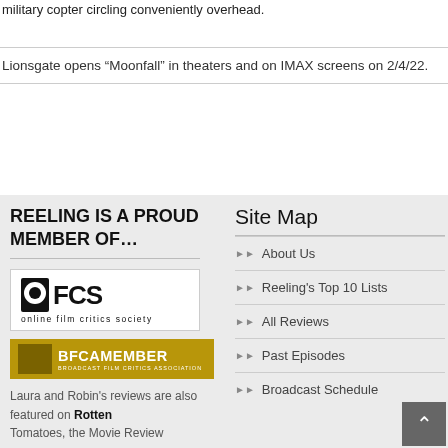military copter circling conveniently overhead.
Lionsgate opens “Moonfall” in theaters and on IMAX screens on 2/4/22.
REELING IS A PROUD MEMBER OF…
[Figure (logo): OFCS Online Film Critics Society logo]
[Figure (logo): BFCA Member - Broadcast Film Critics Association logo]
Laura and Robin's reviews are also featured on Rotten Tomatoes, the Movie Review
Site Map
About Us
Reeling's Top 10 Lists
All Reviews
Past Episodes
Broadcast Schedule